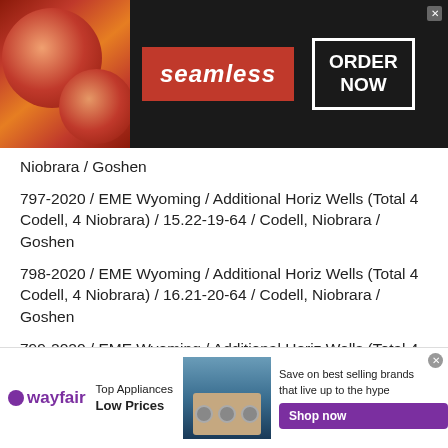[Figure (other): Seamless food delivery advertisement banner with pizza image, red Seamless logo, and ORDER NOW button on dark background]
Niobrara / Goshen
797-2020 / EME Wyoming / Additional Horiz Wells (Total 4 Codell, 4 Niobrara) / 15.22-19-64 / Codell, Niobrara / Goshen
798-2020 / EME Wyoming / Additional Horiz Wells (Total 4 Codell, 4 Niobrara) / 16.21-20-64 / Codell, Niobrara / Goshen
799-2020 / EME Wyoming / Additional Horiz Wells (Total 4 Codell, 4 Niobrara) / 30.31-19-64 / Codell,
[Figure (other): Wayfair advertisement banner for Top Appliances at Low Prices with appliance image and Shop now button]